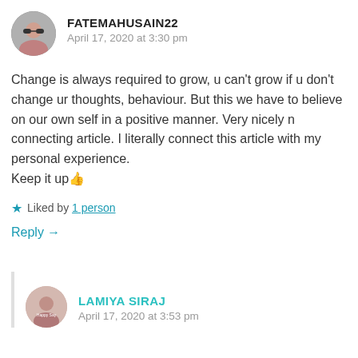FATEMAHUSAIN22
April 17, 2020 at 3:30 pm
Change is always required to grow, u can't grow if u don't change ur thoughts, behaviour. But this we have to believe on our own self in a positive manner. Very nicely n connecting article. I literally connect this article with my personal experience.
Keep it up 👍
★ Liked by 1 person
Reply →
LAMIYA SIRAJ
April 17, 2020 at 3:53 pm